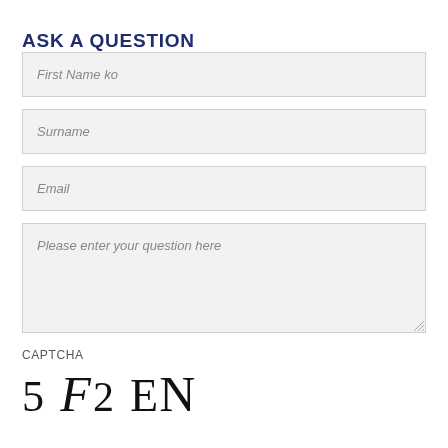ASK A QUESTION
First Name ko
Surname
Email
Please enter your question here
CAPTCHA
[Figure (other): CAPTCHA image showing distorted characters: 5 F 2 E N]